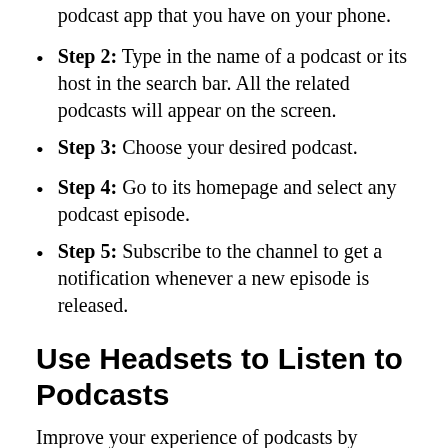podcast app that you have on your phone.
Step 2: Type in the name of a podcast or its host in the search bar. All the related podcasts will appear on the screen.
Step 3: Choose your desired podcast.
Step 4: Go to its homepage and select any podcast episode.
Step 5: Subscribe to the channel to get a notification whenever a new episode is released.
Use Headsets to Listen to Podcasts
Improve your experience of podcasts by listening to them via headphones. Podcast headphones can help